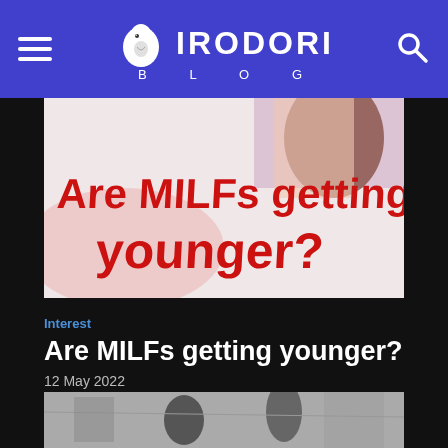IRODORI BLOG
[Figure (illustration): Blog hero image showing anime-style illustration with red text reading 'Are MILFs getting younger?' on a light background with pink and purple decorative elements]
Interest
Are MILFs getting younger?
12 May 2022
[Figure (illustration): Black and white manga/illustration showing two figures in traditional Japanese style]